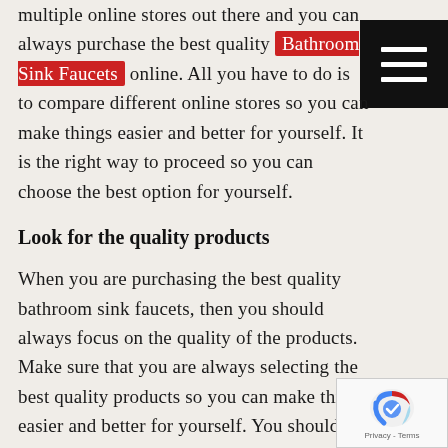multiple online stores out there and you can always purchase the best quality Bathroom Sink Faucets online. All you have to do is to compare different online stores so you can make things easier and better for yourself. It is the right way to proceed so you can choose the best option for yourself.
Look for the quality products
When you are purchasing the best quality bathroom sink faucets, then you should always focus on the quality of the products. Make sure that you are always selecting the best quality products so you can make things easier and better for yourself. You should also have a look
[Figure (other): Black hamburger menu button with three white horizontal lines]
[Figure (logo): reCAPTCHA badge with blue and red reCAPTCHA logo and Privacy - Terms text]